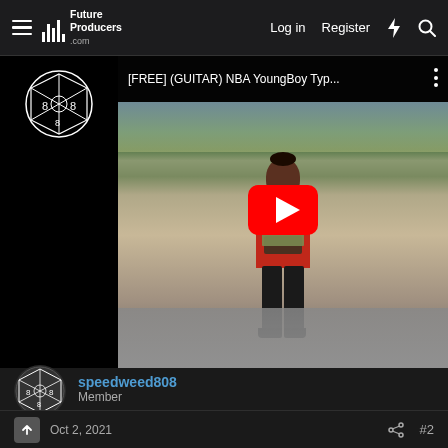Future Producers – Log in  Register
[Figure (screenshot): YouTube video embed thumbnail: [FREE] (GUITAR) NBA YoungBoy Typ... showing a person in a red jacket holding cash, with YouTube play button overlay]
speedweed808
Member
Oct 2, 2021  #2